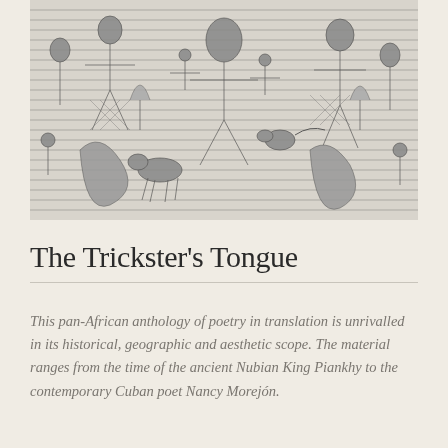[Figure (illustration): A dense, detailed black-and-white illustration showing many human figures, animals, and objects in a complex crowded scene with a folk-art or woodcut style.]
The Trickster's Tongue
This pan-African anthology of poetry in translation is unrivalled in its historical, geographic and aesthetic scope. The material ranges from the time of the ancient Nubian King Piankhy to the contemporary Cuban poet Nancy Morejón.